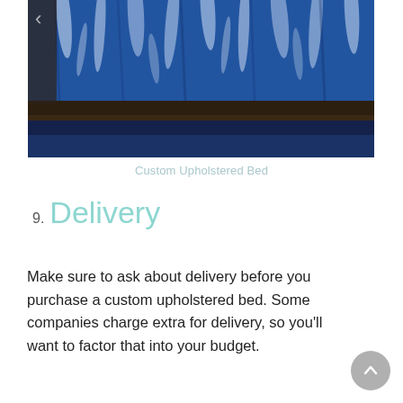[Figure (photo): Close-up photo of a custom upholstered bed with a blue and white tie-dye patterned comforter draped over a dark wood bed frame, on a dark blue carpet.]
Custom Upholstered Bed
9. Delivery
Make sure to ask about delivery before you purchase a custom upholstered bed. Some companies charge extra for delivery, so you’ll want to factor that into your budget.